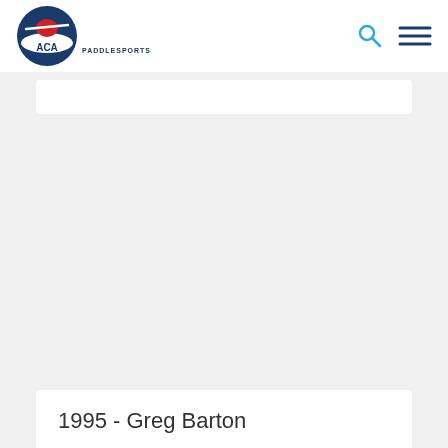ACA Paddlesports
Club of Bryson City (as president), WCQS, West Care Health System and Harris Regional Hospital, and MedWest Health System. She also works with the Little Tennessee Land Trust, helping to conserve the landscape of the upper Little Tennessee and Hiwassee River valleys by protecting private lands from inappropriate development.
1995 - Greg Barton
What can we say about sprint kayaker Greg